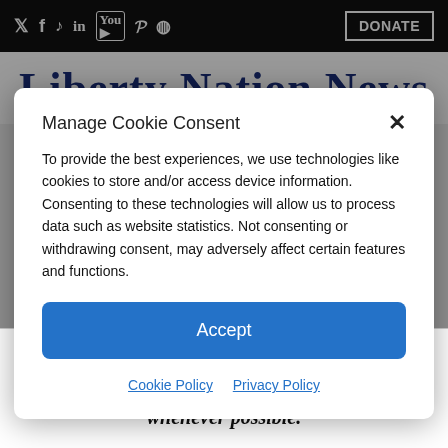Social icons: Twitter, Facebook, TikTok, LinkedIn, YouTube, Pinterest, RSS | DONATE
Liberty Nation News
Manage Cookie Consent
To provide the best experiences, we use technologies like cookies to store and/or access device information. Consenting to these technologies will allow us to process data such as website statistics. Not consenting or withdrawing consent, may adversely affect certain features and functions.
Accept
Cookie Policy   Privacy Policy
In truth, both parties seemed to have drawn the lines to their benefit whenever possible.